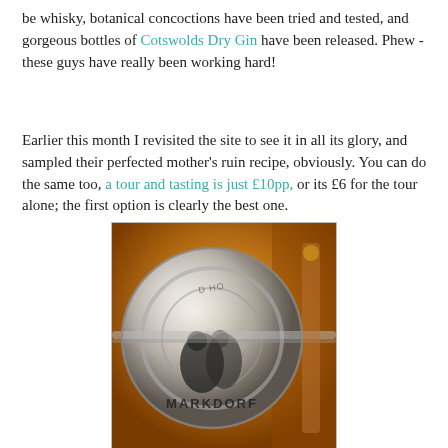be whisky, botanical concoctions have been tried and tested, and gorgeous bottles of Cotswolds Dry Gin have been released. Phew - these guys have really been working hard!
Earlier this month I revisited the site to see it in all its glory, and sampled their perfected mother's ruin recipe, obviously. You can do the same too, a tour and tasting is just £10pp, or its £6 for the tour alone; the first option is clearly the best one.
[Figure (photo): Close-up photo of a large polished metal distillery still showing the reflection of two people. The word MARKDORF is visible on the still. Warm golden and amber tones in the background suggesting distillery equipment.]